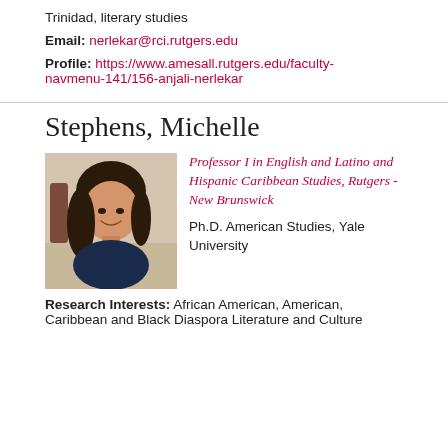Trinidad, literary studies
Email: nerlekar@rci.rutgers.edu
Profile: https://www.amesall.rutgers.edu/faculty-navmenu-141/156-anjali-nerlekar
Stephens, Michelle
[Figure (photo): Headshot photo of Michelle Stephens, a woman with long dark hair, smiling, wearing a dark blue top.]
Professor I in English and Latino and Hispanic Caribbean Studies, Rutgers - New Brunswick
Ph.D. American Studies, Yale University
Research Interests: African American, American, Caribbean and Black Diaspora Literature and Culture